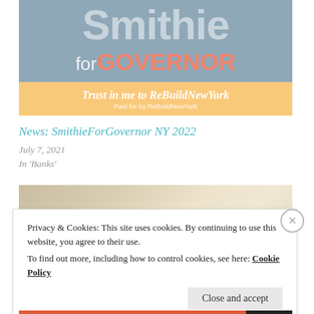[Figure (illustration): Campaign banner for Smithie for Governor NY 2022. Gray-blue background with large semi-transparent white 'Smithie' text, 'for GOVERNOR' below in white and coral/salmon color. Orange-yellow banner strip at bottom with italic text 'Trust in me to ReBuildNewYork' and 'Paid for by ReBuildNewYork' below.]
News: SmithieForGovernor NY 2022
July 7, 2021
In 'Banks'
[Figure (photo): Partial photo with warm beige/tan tones, appears to show interior scene, partially obscured by cookie consent overlay.]
Privacy & Cookies: This site uses cookies. By continuing to use this website, you agree to their use.
To find out more, including how to control cookies, see here: Cookie Policy
Close and accept